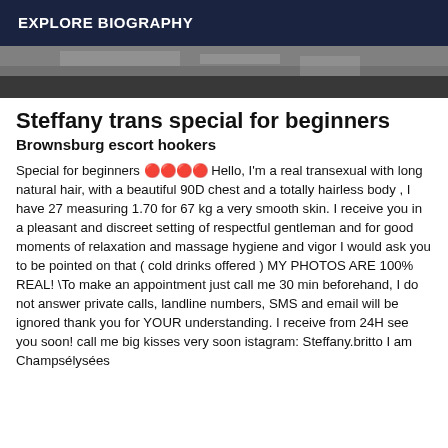EXPLORE BIOGRAPHY
[Figure (photo): Partial photo strip showing a dark interior scene, likely a room with metallic or gray surfaces]
Steffany trans special for beginners
Brownsburg escort hookers
Special for beginners 🔴🔴🔴🔴 Hello, I'm a real transexual with long natural hair, with a beautiful 90D chest and a totally hairless body , I have 27 measuring 1.70 for 67 kg a very smooth skin. I receive you in a pleasant and discreet setting of respectful gentleman and for good moments of relaxation and massage hygiene and vigor I would ask you to be pointed on that ( cold drinks offered ) MY PHOTOS ARE 100% REAL! \To make an appointment just call me 30 min beforehand, I do not answer private calls, landline numbers, SMS and email will be ignored thank you for YOUR understanding. I receive from 24H see you soon! call me big kisses very soon istagram: Steffany.britto I am Champsélysées